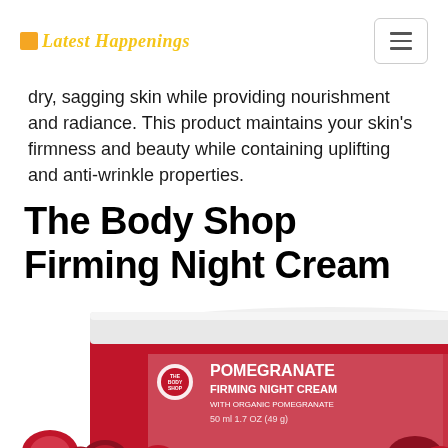Latest Happenings
dry, sagging skin while providing nourishment and radiance. This product maintains your skin's firmness and beauty while containing uplifting and anti-wrinkle properties.
The Body Shop Firming Night Cream
[Figure (photo): A red jar of The Body Shop Pomegranate Firming Night Cream with organic pomegranate, 50ml 1.7 OZ (49g), with a white lid and pomegranate seeds visible at the bottom.]